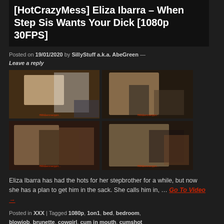[HotCrazyMess] Eliza Ibarra – When Step Sis Wants Your Dick [1080p 30FPS]
Posted on 19/01/2020 by SillyStuff a.k.a. AbeGreen — Leave a reply
[Figure (photo): Four-panel image grid showing video preview thumbnails]
Eliza Ibarra has had the hots for her stepbrother for a while, but now she has a plan to get him in the sack. She calls him in, … Go To Video →
Posted in XXX | Tagged 1080p, 1on1, bed, bedroom, blowjob, brunette, cowgirl, cum in mouth, cumshot